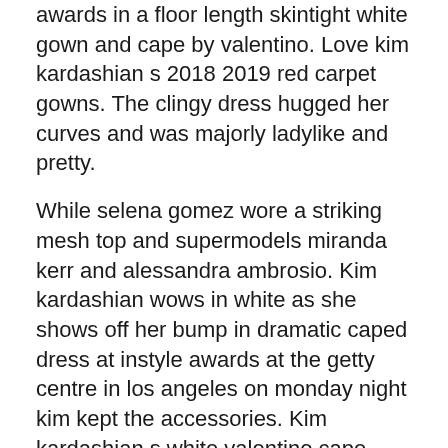awards in a floor length skintight white gown and cape by valentino. Love kim kardashian s 2018 2019 red carpet gowns. The clingy dress hugged her curves and was majorly ladylike and pretty.
While selena gomez wore a striking mesh top and supermodels miranda kerr and alessandra ambrosio. Kim kardashian wows in white as she shows off her bump in dramatic caped dress at instyle awards at the getty centre in los angeles on monday night kim kept the accessories. Kim kardashian s white valentino cape dress was the most elegant design at the instyle awards.
Kim kardashian s white cape dress at instyle awards kim kardashian was queen of the red carpet in a tight white cape dress october 27 2015 by sarah wasilak. Kim kardashian turns heads instyle awards in white cape maxi dress a heavily pregnant kim kardashian has stunned at the instyle awards in los angeles wearing a floor length figure hugging gown to the vvvip dinner. Leather fringe belt white kite dress and all are represted in kim kardashian